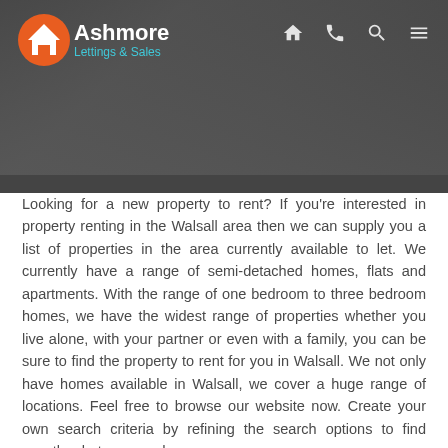[Figure (logo): Ashmore Lettings & Sales logo with orange circular house icon on dark grey header banner with navigation icons (home, phone, search, menu)]
Looking for a new property to rent? If you're interested in property renting in the Walsall area then we can supply you a list of properties in the area currently available to let. We currently have a range of semi-detached homes, flats and apartments. With the range of one bedroom to three bedroom homes, we have the widest range of properties whether you live alone, with your partner or even with a family, you can be sure to find the property to rent for you in Walsall. We not only have homes available in Walsall, we cover a huge range of locations. Feel free to browse our website now. Create your own search criteria by refining the search options to find exactly what you need.
We stand out from any other kind of lettings agency because we simply work that bit harder for our clients. We want each and every client of ours to find what they are